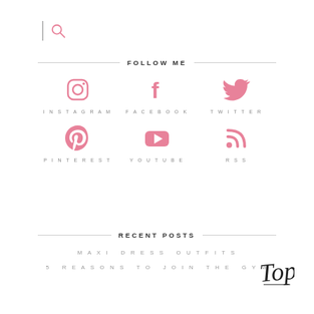[Figure (illustration): Search bar with vertical bar and magnifying glass icon]
FOLLOW ME
[Figure (infographic): Six social media icons in two rows: Instagram, Facebook, Twitter, Pinterest, YouTube, RSS — all in pink with spaced label text beneath each]
RECENT POSTS
MAXI DRESS OUTFITS
5 REASONS TO JOIN THE GYM
[Figure (illustration): Cursive handwritten 'Top' badge in black ink, top-right area]